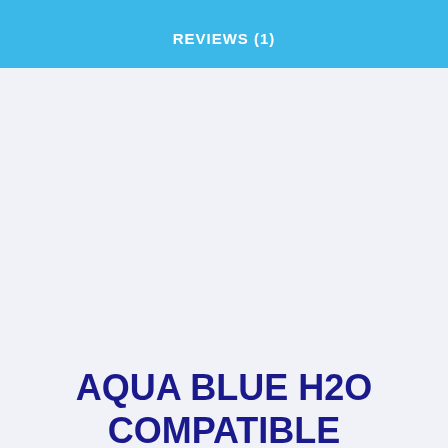REVIEWS (1)
AQUA BLUE H2O COMPATIBLE